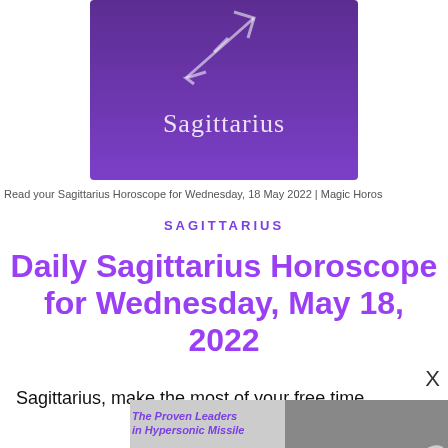[Figure (illustration): Sagittarius zodiac sign banner with purple gradient background, arrow/archer symbol and the word 'Sagittarius' in white text]
Read your Sagittarius Horoscope for Wednesday, 18 May 2022 | Magic Horos
SAGITTARIUS
Daily Sagittarius Horoscope for Wednesday, May 18, 2022
Sagittarius, make the most of your free time
[Figure (screenshot): Advertisement banner showing 'The Proven Leader in Hypersonic Missile Automation' text on grey background with missile photo and orange Learn More button]